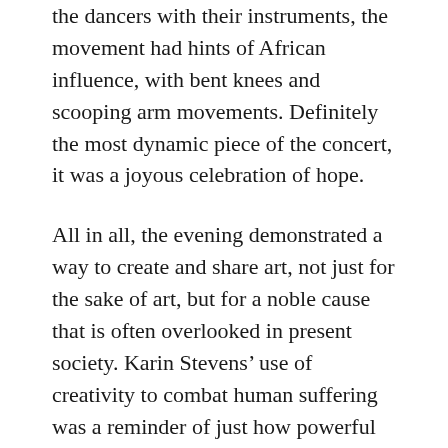the dancers with their instruments, the movement had hints of African influence, with bent knees and scooping arm movements. Definitely the most dynamic piece of the concert, it was a joyous celebration of hope.
All in all, the evening demonstrated a way to create and share art, not just for the sake of art, but for a noble cause that is often overlooked in present society. Karin Stevens’ use of creativity to combat human suffering was a reminder of just how powerful art can be. In addition to half of JUBILEE’s record sales being donated to an organization that battles human trafficking internationally, a portion of the ticket sales also went to Seattle Against Slavery, a group that